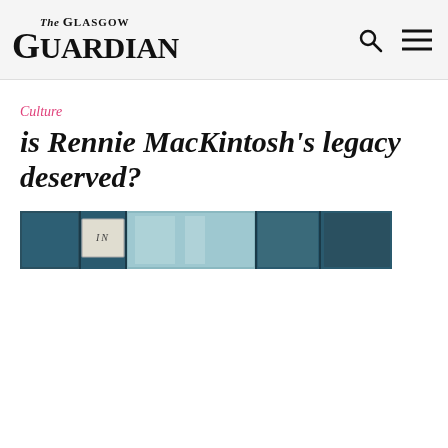The Glasgow Guardian
Culture
is Rennie MacKintosh's legacy deserved?
[Figure (photo): A close-up photograph of a blue door or entrance with a small sign reading 'IN', showing architectural details in teal/blue tones.]